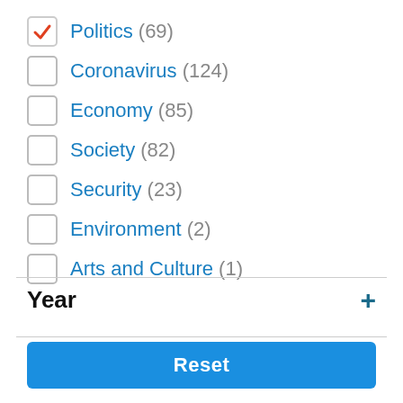Politics (69)
Coronavirus (124)
Economy (85)
Society (82)
Security (23)
Environment (2)
Arts and Culture (1)
Year
Reset